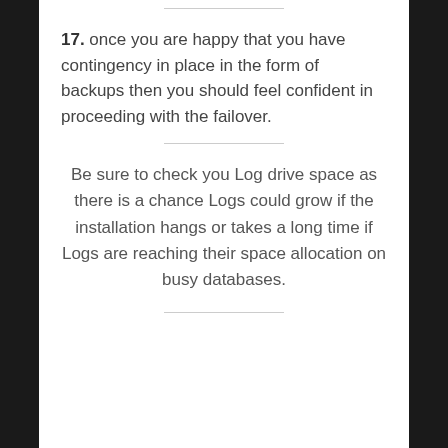17. once you are happy that you have contingency in place in the form of backups then you should feel confident in proceeding with the failover.
Be sure to check you Log drive space as there is a chance Logs could grow if the installation hangs or takes a long time if Logs are reaching their space allocation on busy databases.